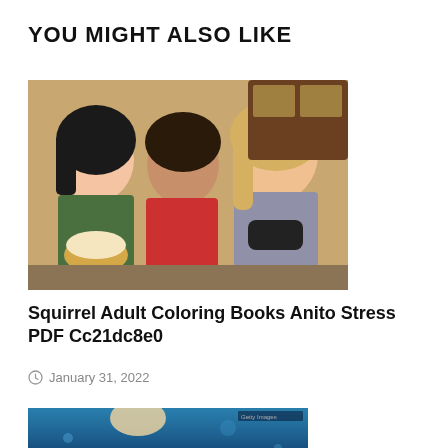YOU MIGHT ALSO LIKE
[Figure (photo): Three women sitting on a couch — one with black hair holding a bowl of popcorn, one with curly dark hair in a red top, and one with long blonde hair holding a game controller, all looking intently at something off-screen.]
Squirrel Adult Coloring Books Anito Stress PDF Cc21dc8e0
January 31, 2022
[Figure (photo): Partial view of a photo showing a blonde woman and a blue/underwater themed background.]